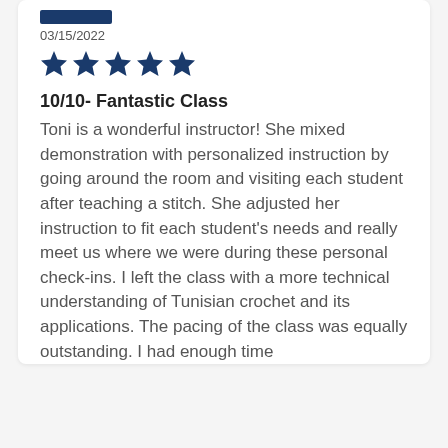[Figure (other): Blue rectangle bar (reviewer name placeholder)]
03/15/2022
[Figure (other): Five filled blue stars rating]
10/10- Fantastic Class
Toni is a wonderful instructor! She mixed demonstration with personalized instruction by going around the room and visiting each student after teaching a stitch. She adjusted her instruction to fit each student's needs and really meet us where we were during these personal check-ins. I left the class with a more technical understanding of Tunisian crochet and its applications. The pacing of the class was equally outstanding. I had enough time